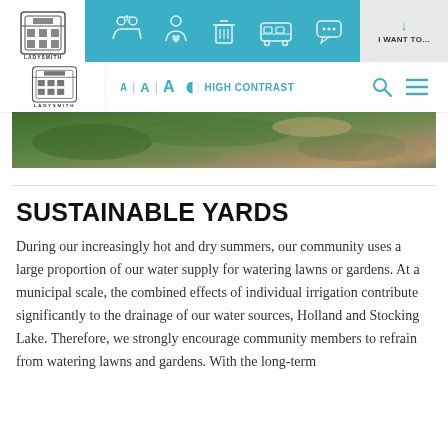Ladysmith municipal website header with navigation icons and I WANT TO... button
[Figure (photo): Aerial photograph showing forested and cleared land areas from above]
SUSTAINABLE YARDS
During our increasingly hot and dry summers, our community uses a large proportion of our water supply for watering lawns or gardens. At a municipal scale, the combined effects of individual irrigation contribute significantly to the drainage of our water sources, Holland and Stocking Lake. Therefore, we strongly encourage community members to refrain from watering lawns and gardens. With the long-term